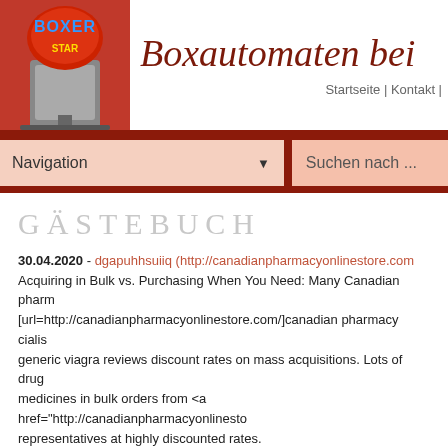Boxautomaten bei ...  Startseite | Kontakt |
Navigation ▼   Suchen nach ...
GÄSTEBUCH
30.04.2020 - dgapuhhsuiiq (http://canadianpharmacyonlinestore.com)
Acquiring in Bulk vs. Purchasing When You Need: Many Canadian pharm... [url=http://canadianpharmacyonlinestore.com/]canadian pharmacy cialis generic viagra reviews discount rates on mass acquisitions. Lots of drug medicines in bulk orders from <a href="http://canadianpharmacyonlinesto... representatives at highly discounted rates.
30.04.2020 - RonaldGrani (https://empiremarket-link.org)
[url=https://empiremarket-link.org]empire market list[/url] - empire market...
30.04.2020 - zeetbxgcudmc (http://canadianpharmacyonlinestore.co...
Buying wholesale vs. Buying When You Need: Several Canadian drug st... [url=http://canadianpharmacyonlinestore.com/]Canadian Pharmacy Onlin...